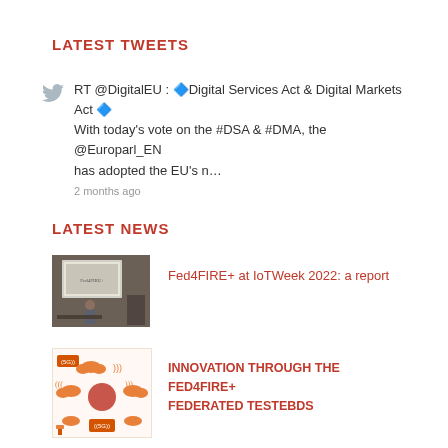LATEST TWEETS
RT @DigitalEU : 🔷Digital Services Act & Digital Markets Act 🔷 With today's vote on the #DSA & #DMA, the @Europarl_EN has adopted the EU's n…
2 months ago
LATEST NEWS
[Figure (photo): Photo of a presenter at IoTWeek 2022 conference standing in front of a projection screen]
Fed4FIRE+ at IoTWeek 2022: a report
[Figure (illustration): Infographic showing 5G network connectivity with cloud and IoT icons in orange and white]
INNOVATION THROUGH THE FED4FIRE+ FEDERATED TESTEBDS